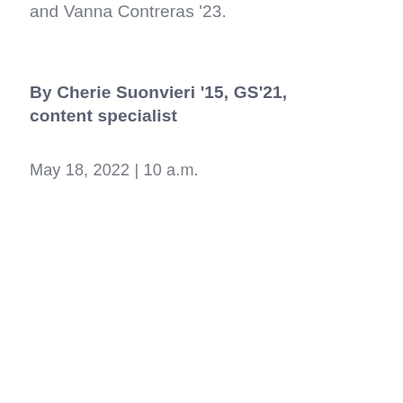and Vanna Contreras '23.
By Cherie Suonvieri '15, GS'21, content specialist
May 18, 2022 | 10 a.m.